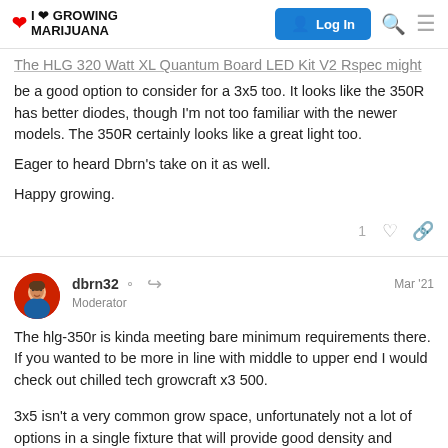I ❤ GROWING MARIJUANA | Log In
The HLG 320 Watt XL Quantum Board LED Kit V2 Rspec might be a good option to consider for a 3x5 too. It looks like the 350R has better diodes, though I'm not too familiar with the newer models. The 350R certainly looks like a great light too.
Eager to heard Dbrn's take on it as well.
Happy growing.
dbrn32 Moderator Mar '21
The hlg-350r is kinda meeting bare minimum requirements there. If you wanted to be more in line with middle to upper end I would check out chilled tech growcraft x3 500.
3x5 isn't a very common grow space, unfortunately not a lot of options in a single fixture that will provide good density and